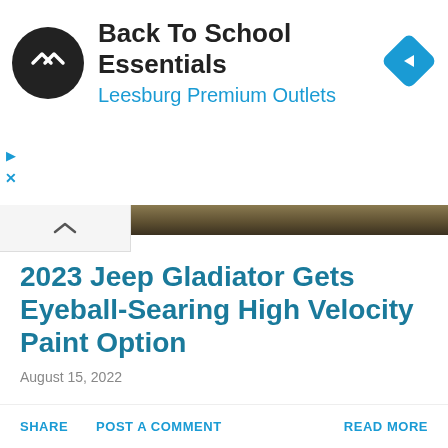[Figure (logo): Ad banner: Back To School Essentials at Leesburg Premium Outlets, with circular logo and navigation diamond icon]
[Figure (photo): Dark olive/brown textured image strip at top of article]
2023 Jeep Gladiator Gets Eyeball-Searing High Velocity Paint Option
August 15, 2022
2023 Jeep Gladiator Gets Eyeball-Searing High Velocity Paint Option 2023 Jeep Gladiator Gets Eyeball-Searing High Velocity Paint Option Among the numerous auto brands existing underneath the Stellantis umbrella, hard...
SHARE   POST A COMMENT   READ MORE